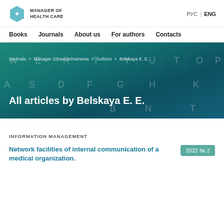MANAGER OF HEALTH CARE | РУС | ENG
Books  Journals  About us  For authors  Contacts
[Figure (screenshot): Banner with keyboard background and teal/dark overlay showing breadcrumb navigation and page title: All articles by Belskaya E. E.]
Journals > Manager Zdravoochranenia > Authors > Belskaya E. E.
All articles by Belskaya E. E.
INFORMATION MANAGEMENT
Network facilities of internal communication of a medical organization.
2022 № 2